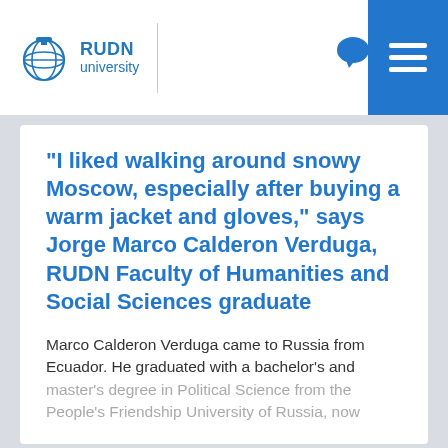RUDN university
“I liked walking around snowy Moscow, especially after buying a warm jacket and gloves,” says Jorge Marco Calderon Verduga, RUDN Faculty of Humanities and Social Sciences graduate
Marco Calderon Verduga came to Russia from Ecuador. He graduated with a bachelor’s and master’s degree in Political Science from the People’s Friendship University of Russia, now…